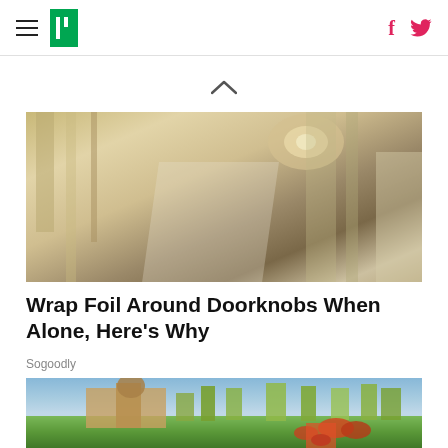HuffPost navigation with hamburger menu, logo, Facebook and Twitter icons
[Figure (photo): Interior ceiling photo showing chandelier and draped fabric, warm golden tones]
Wrap Foil Around Doorknobs When Alone, Here's Why
Sogoodly
[Figure (photo): Exterior photo of Mar-a-Lago estate with palm trees, worker in red shirt tending to tropical hedge garden]